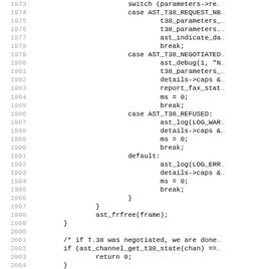[Figure (other): Source code listing (C language) showing lines 1973-2005, featuring a switch statement with cases for AST_T38_REQUEST_NB, AST_T38_NEGOTIATED, AST_T38_REFUSED, and default, followed by ast_frfree(frame), a closing brace, and an if statement checking ast_channel_get_t38_state.]